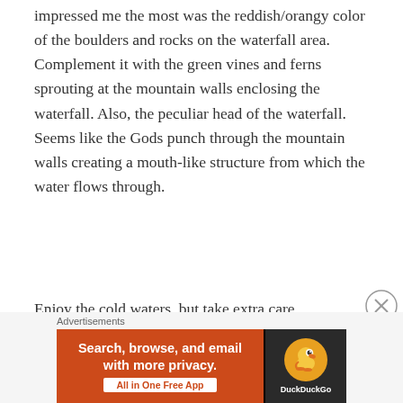impressed me the most was the reddish/orangy color of the boulders and rocks on the waterfall area. Complement it with the green vines and ferns sprouting at the mountain walls enclosing the waterfall. Also, the peculiar head of the waterfall. Seems like the Gods punch through the mountain walls creating a mouth-like structure from which the water flows through.
Enjoy the cold waters, but take extra care.
[Figure (other): DuckDuckGo advertisement banner: 'Search, browse, and email with more privacy. All in One Free App' on orange background with DuckDuckGo logo on dark background]